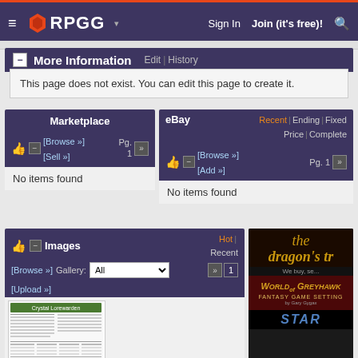RPGG — Sign In | Join (it's free)!
More Information — Edit | History
This page does not exist. You can edit this page to create it.
Marketplace — Pg. 1 [Browse »] [Sell »]
No items found
eBay — Recent | Ending | Fixed Price | Complete — Pg. 1 [Browse »] [Add »]
No items found
Images — Hot | Recent — Gallery: All — Pg. 1
[Figure (screenshot): Thumbnail image of Crystal Lorewarden document page with text columns and tables]
[Figure (screenshot): Advertisement for The Dragon's store - We buy, se... with World of Greyhawk Fantasy Game Setting and Star Wars product images]